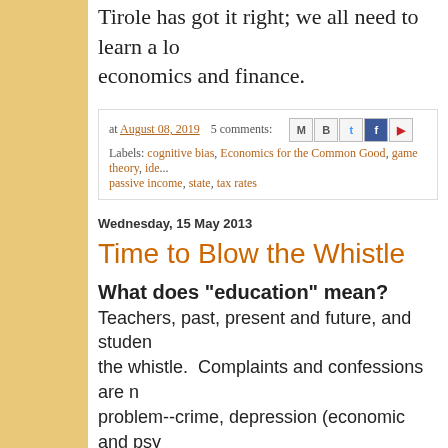Tirole has got it right; we all need to learn a lot about economics and finance.
at August 08, 2019   5 comments:
Labels: cognitive bias, Economics for the Common Good, game theory, ideo..., passive income, state, tax rates
Wednesday, 15 May 2013
Time to Blow the Whistle
What does "education" mean?
Teachers, past, present and future, and studen... the whistle.  Complaints and confessions are n... problem--crime, depression (economic and psy... racism, drug abuse, the breakup of marriages... etc--and someone has already proposed that "... solution.  Does anybody ever stop to consider...